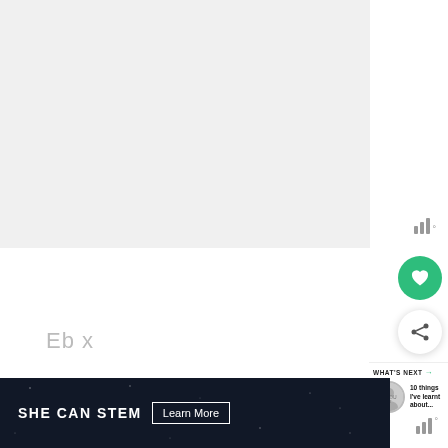[Figure (other): Large light grey rectangular content area, appears to be a video or article image placeholder taking up most of the top portion of the page]
Eb x
WHAT'S NEXT → 10 things I've learnt about...
[Figure (infographic): SHE CAN STEM advertisement banner with dark background, white bold text 'SHE CAN STEM' and a 'Learn More' button with white border]